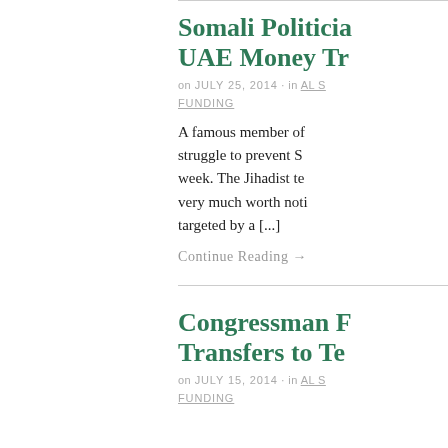Somali Politicia UAE Money Tr
on JULY 25, 2014 · in AL S FUNDING
A famous member of struggle to prevent S week. The Jihadist te very much worth noti targeted by a [...]
Continue Reading →
Congressman F Transfers to Te
on JULY 15, 2014 · in AL S FUNDING